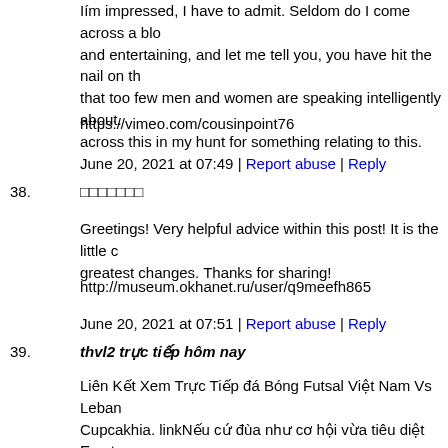Iím impressed, I have to admit. Seldom do I come across a blo and entertaining, and let me tell you, you have hit the nail on th that too few men and women are speaking intelligently about. across this in my hunt for something relating to this.
https://vimeo.com/cousinpoint76
June 20, 2021 at 07:49 | Report abuse | Reply
38. □□□□□□□
Greetings! Very helpful advice within this post! It is the little c greatest changes. Thanks for sharing!
http://museum.okhanet.ru/user/q9meefh865
June 20, 2021 at 07:51 | Report abuse | Reply
39. thvl2 trực tiếp hôm nay
Liên Kết Xem Trực Tiếp đá Bóng Futsal Việt Nam Vs Leban Cupcakhia. linkNếu cứ đùa như cơ hội vừa tiêu diệt Everton khách hàng
https://chiefscreolecafe.com/detail/truc-tiep-bong-da-90-phut-t
June 20, 2021 at 07:56 | Report abuse | Reply
40. game rolet casino